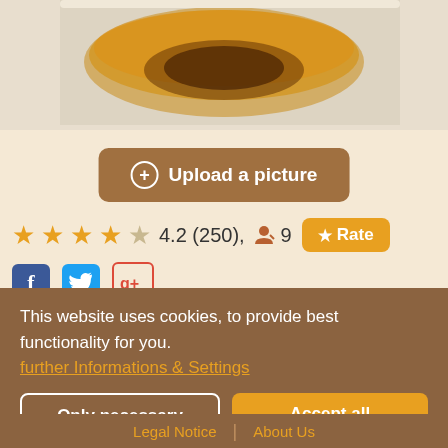[Figure (photo): Partial view of a whisky glass/bottle with amber liquid on a light background]
Upload a picture
4.2 (250), 9 Rate
[Figure (illustration): Facebook, Twitter, and Google+ social sharing icons]
18 long years of maturation and the addition of ex-sherry casks make this Glenlivet much more complex than the popular 12 year old standard bottling. Despite its quality it's
This website uses cookies, to provide best functionality for you.
further Informations & Settings
Only necessary
Accept all
Legal Notice | About Us